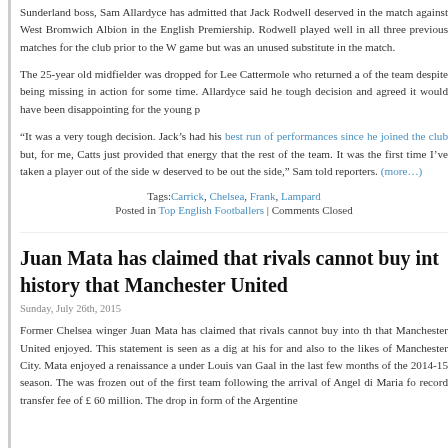Sunderland boss, Sam Allardyce has admitted that Jack Rodwell deserved in the match against West Bromwich Albion in the English Premiership. Rodwell played well in all three previous matches for the club prior to the W game but was an unused substitute in the match.
The 25-year old midfielder was dropped for Lee Cattermole who returned as of the team despite being missing in action for some time. Allardyce said he tough decision and agreed it would have been disappointing for the young p
“It was a very tough decision. Jack’s had his best run of performances since he joined the club but, for me, Catts just provided that energy that the rest of the team. It was the first time I’ve taken a player out of the side w deserved to be out the side,” Sam told reporters. (more…)
Tags: Carrick, Chelsea, Frank, Lampard
Posted in Top English Footballers | Comments Closed
Juan Mata has claimed that rivals cannot buy into history that Manchester United
Sunday, July 26th, 2015
Former Chelsea winger Juan Mata has claimed that rivals cannot buy into th that Manchester United enjoyed. This statement is seen as a dig at his for and also to the likes of Manchester City. Mata enjoyed a renaissance a under Louis van Gaal in the last few months of the 2014-15 season. The was frozen out of the first team following the arrival of Angel di Maria fo record transfer fee of £ 60 million. The drop in form of the Argentine...